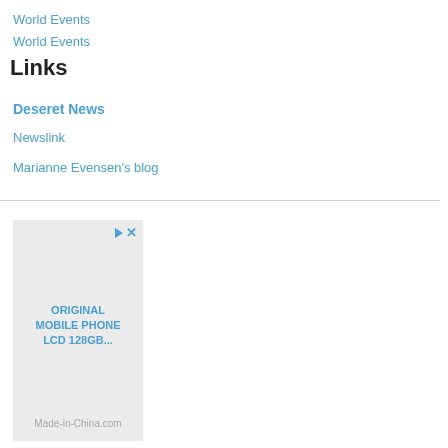World Events
World Events
Links
Deseret News
Newslink
Marianne Evensen's blog
[Figure (screenshot): Advertisement box with icons (play and close), text 'ORIGINAL MOBILE PHONE LCD 128GB...' and 'Made-in-China.com' at bottom]